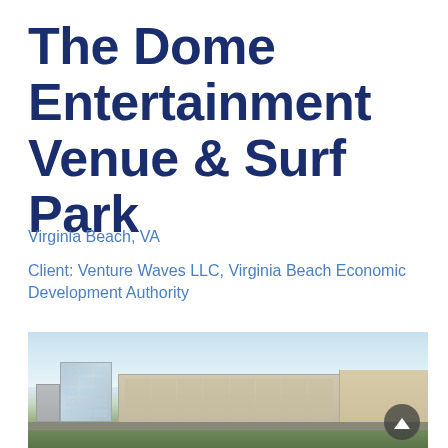The Dome Entertainment Venue & Surf Park
Virginia Beach, VA
Client: Venture Waves LLC, Virginia Beach Economic Development Authority
[Figure (photo): Architectural rendering of a mixed-use urban development with multi-story glass buildings, mid-rise residential buildings, and landscaping under a light blue sky. A circular scroll-up button appears bottom-right.]